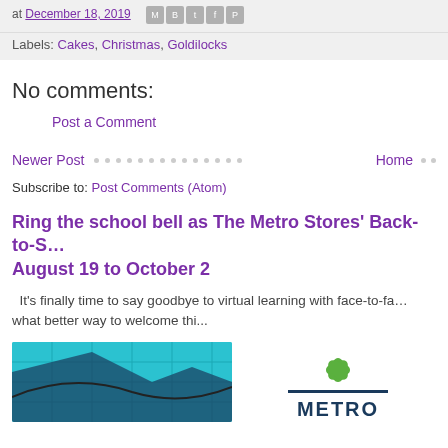at December 18, 2019
Labels: Cakes, Christmas, Goldilocks
No comments:
Post a Comment
Newer Post · · · · · · · · · · · · · · · Home · · ·
Subscribe to: Post Comments (Atom)
Ring the school bell as The Metro Stores' Back-to-S… August 19 to October 2
It's finally time to say goodbye to virtual learning with face-to-fa… what better way to welcome thi...
[Figure (photo): Teal/blue grid-pattern image on the left; Metro logo on the right]